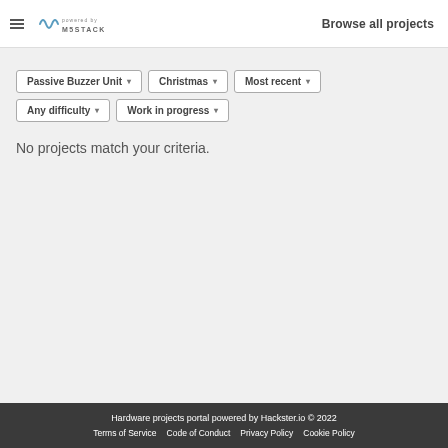Browse all projects
Passive Buzzer Unit ▾   Christmas ▾   Most recent ▾   Any difficulty ▾   Work in progress ▾
No projects match your criteria.
Hardware projects portal powered by Hackster.io © 2022
Terms of Service   Code of Conduct   Privacy Policy   Cookie Policy